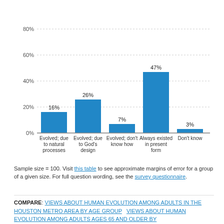[Figure (bar-chart): ]
Sample size = 100. Visit this table to see approximate margins of error for a group of a given size. For full question wording, see the survey questionnaire.
COMPARE: VIEWS ABOUT HUMAN EVOLUTION AMONG ADULTS IN THE HOUSTON METRO AREA BY AGE GROUP   VIEWS ABOUT HUMAN EVOLUTION AMONG ADULTS AGES 65 AND OLDER BY